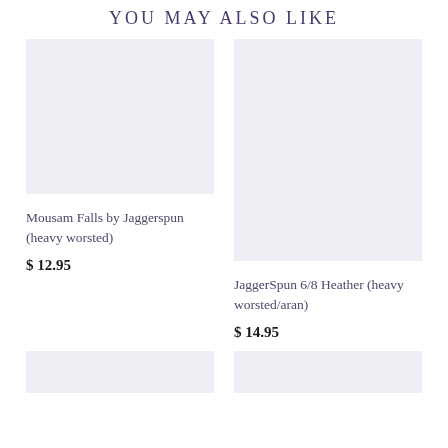YOU MAY ALSO LIKE
[Figure (photo): Product image placeholder for Mousam Falls by Jaggerspun (heavy worsted) - light lavender/grey background]
Mousam Falls by Jaggerspun (heavy worsted)
$ 12.95
[Figure (photo): Product image placeholder for JaggerSpun 6/8 Heather (heavy worsted/aran) - light lavender/grey background]
JaggerSpun 6/8 Heather (heavy worsted/aran)
$ 14.95